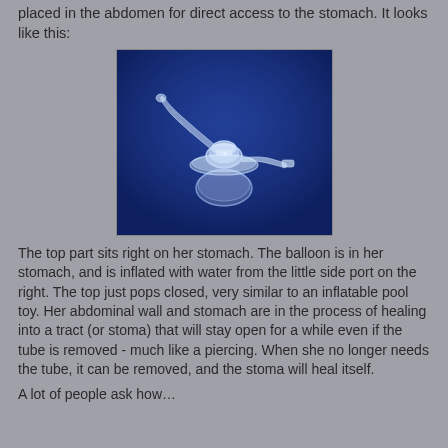placed in the abdomen for direct access to the stomach. It looks like this:
[Figure (photo): A medical gastrostomy button/tube device (MIC-KEY or similar low-profile button) photographed against a dark blue background. The clear plastic device has a flat base with a balloon underneath, a central hub with a cap, and a side port extension arm to the right, plus a tube extension to the upper left.]
The top part sits right on her stomach.  The balloon is in her stomach, and is inflated with water from the little side port on the right.  The top just pops closed, very similar to an inflatable pool toy.  Her abdominal wall and stomach are in the process of healing into a tract (or stoma) that will stay open for a while even if the tube is removed - much like a piercing.  When she no longer needs the tube, it can be removed, and the stoma will heal itself.
A lot of people ask how…